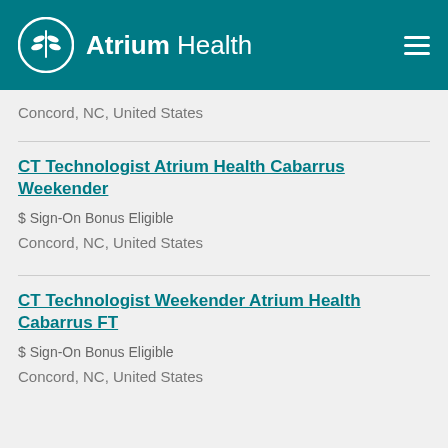Atrium Health
Concord, NC, United States
CT Technologist Atrium Health Cabarrus Weekender
$ Sign-On Bonus Eligible
Concord, NC, United States
CT Technologist Weekender Atrium Health Cabarrus FT
$ Sign-On Bonus Eligible
Concord, NC, United States